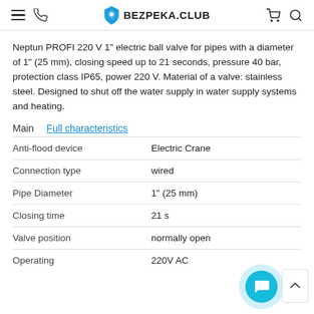BEZPEKA.CLUB
Neptun PROFI 220 V 1" electric ball valve for pipes with a diameter of 1" (25 mm), closing speed up to 21 seconds, pressure 40 bar, protection class IP65, power 220 V. Material of a valve: stainless steel. Designed to shut off the water supply in water supply systems and heating.
Main    Full characteristics
| Anti-flood device | Electric Crane |
| Connection type | wired |
| Pipe Diameter | 1" (25 mm) |
| Closing time | 21 s |
| Valve position | normally open |
| Operating | 220V AC |